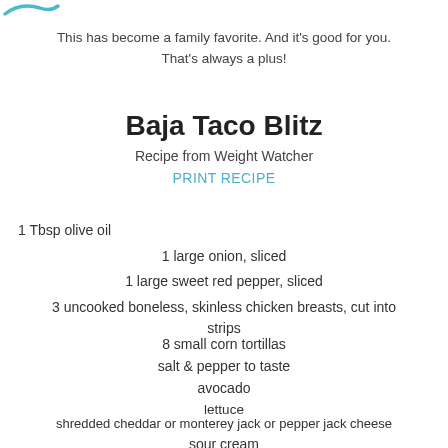[Figure (illustration): Teal/cyan decorative accent or logo element in top-left corner]
This has become a family favorite.  And it's good for you. That's always a plus!
Baja Taco Blitz
Recipe from Weight Watcher
PRINT RECIPE
1 Tbsp olive oil
1 large onion, sliced
1 large sweet red pepper, sliced
3 uncooked boneless, skinless chicken breasts, cut into strips
8 small corn tortillas
salt & pepper to taste
avocado
lettuce
shredded cheddar or monterey jack or pepper jack cheese
sour cream